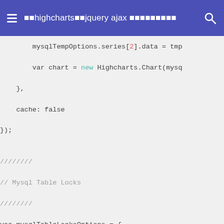highcharts jquery ajax
Code snippet showing JavaScript Highcharts configuration with mysqlTempOptions.series[2].data, var chart = new Highcharts.Chart, cache: false, }); and mysqlTableLocksOptions variable with chart, title, xAxis sections.